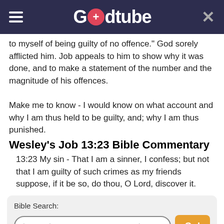Godtube
to myself of being guilty of no offence." God sorely afflicted him. Job appeals to him to show why it was done, and to make a statement of the number and the magnitude of his offences.

Make me to know - I would know on what account and why I am thus held to be guilty, and; why I am thus punished.
Wesley's Job 13:23 Bible Commentary
13:23 My sin - That I am a sinner, I confess; but not that I am guilty of such crimes as my friends suppose, if it be so, do thou, O Lord, discover it.
Bible Search:
(e.g., John 3:16, Romans 8, Moses)
Powered by Bible Study Tools